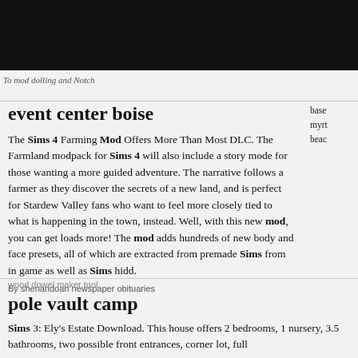To mod dolling and Notch
base
myrt
beac
event center boise
The Sims 4 Farming Mod Offers More Than Most DLC. The Farmland modpack for Sims 4 will also include a story mode for those wanting a more guided adventure. The narrative follows a farmer as they discover the secrets of a new land, and is perfect for Stardew Valley fans who want to feel more closely tied to what is happening in the town, instead. Well, with this new mod, you can get loads more! The mod adds hundreds of new body and face presets, all of which are extracted from premade Sims from in game as well as Sims hidd.
By shenandoah newspaper obituaries
wood dowel maker tool
pole vault camp
Sims 3: Ely's Estate Download. This house offers 2 bedrooms, 1 nursery, 3.5 bathrooms, two possible front entrances, corner lot, full ...